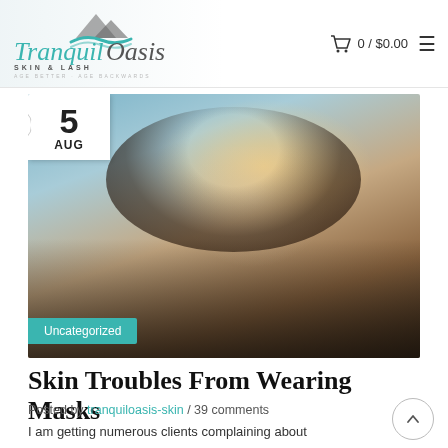[Figure (logo): Tranquil Oasis Skin & Lash logo with mountain/wave icon, teal and gray colors, tagline 'Age Better Age Backwards']
0 / $0.00
[Figure (photo): Woman with curly hair wearing a white face mask, photographed outdoors with warm backlighting. Date badge shows '5 AUG'. Category tag 'Uncategorized' in teal at bottom left.]
Skin Troubles From Wearing Masks
Posted by tranquiloasis-skin / 39 comments
I am getting numerous clients complaining about